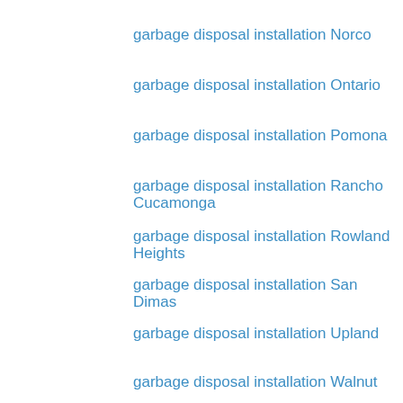garbage disposal installation Norco
garbage disposal installation Ontario
garbage disposal installation Pomona
garbage disposal installation Rancho Cucamonga
garbage disposal installation Rowland Heights
garbage disposal installation San Dimas
garbage disposal installation Upland
garbage disposal installation Walnut
garbage disposal installation West Covina
garbage disposal installation Yorba Linda